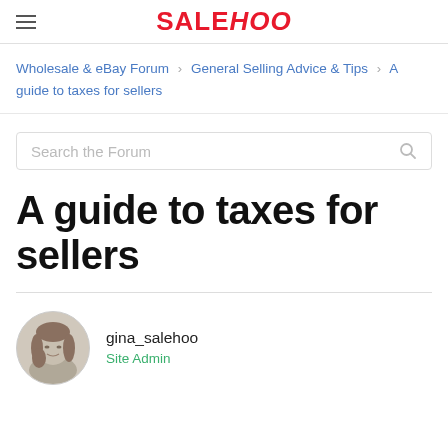SALEHOO
Wholesale & eBay Forum > General Selling Advice & Tips > A guide to taxes for sellers
Search the Forum
A guide to taxes for sellers
gina_salehoo
Site Admin